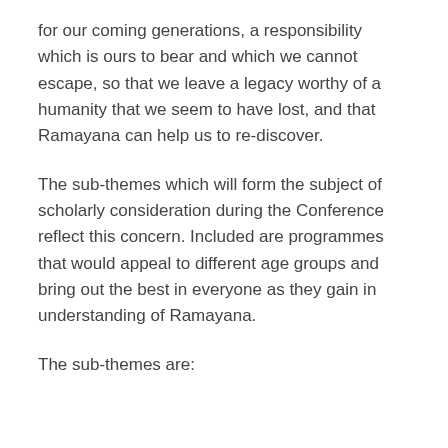for our coming generations, a responsibility which is ours to bear and which we cannot escape, so that we leave a legacy worthy of a humanity that we seem to have lost, and that Ramayana can help us to re-discover.
The sub-themes which will form the subject of scholarly consideration during the Conference reflect this concern. Included are programmes that would appeal to different age groups and bring out the best in everyone as they gain in understanding of Ramayana.
The sub-themes are: